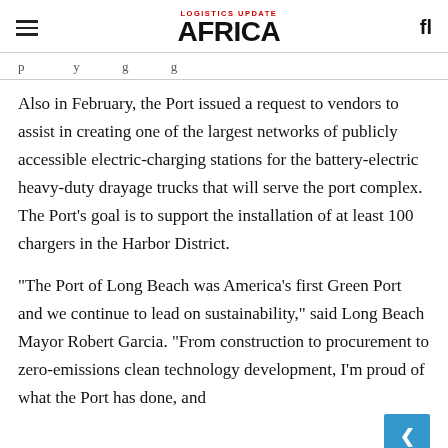LOGISTICS UPDATE AFRICA
p ... y ... g ... g ...
Also in February, the Port issued a request to vendors to assist in creating one of the largest networks of publicly accessible electric-charging stations for the battery-electric heavy-duty drayage trucks that will serve the port complex. The Port's goal is to support the installation of at least 100 chargers in the Harbor District.
"The Port of Long Beach was America's first Green Port and we continue to lead on sustainability," said Long Beach Mayor Robert Garcia. "From construction to procurement to zero-emissions clean technology development, I'm proud of what the Port has done, and